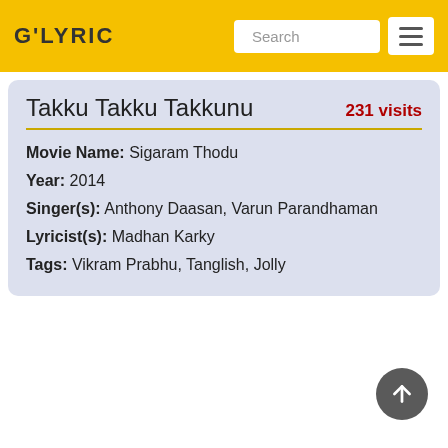G'LYRIC
Takku Takku Takkunu
231 visits
Movie Name: Sigaram Thodu
Year: 2014
Singer(s): Anthony Daasan, Varun Parandhaman
Lyricist(s): Madhan Karky
Tags: Vikram Prabhu, Tanglish, Jolly